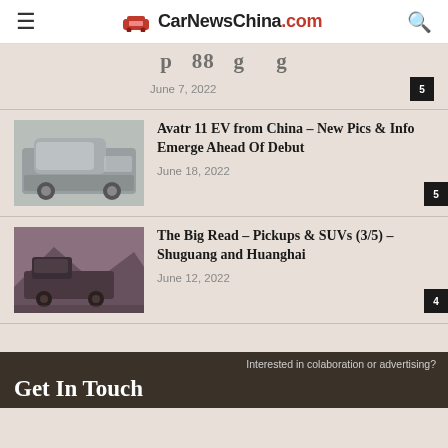CarNewsChina.com
p 88 g g
June 7, 2022
Avatr 11 EV from China – New Pics & Info Emerge Ahead Of Debut
June 18, 2022
The Big Read – Pickups & SUVs (3/5) – Shuguang and Huanghai
June 12, 2022
Interested in colaboration or advertising?
Get In Touch